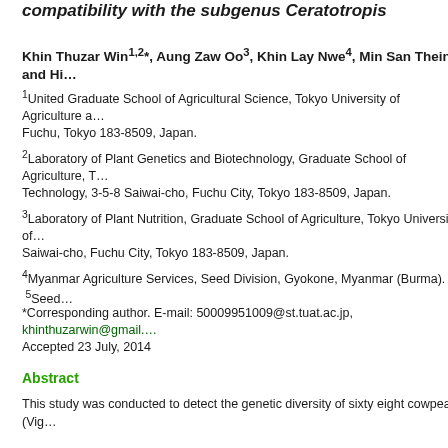compatibility with the subgenus Ceratotropis
Khin Thuzar Win1,2*, Aung Zaw Oo3, Khin Lay Nwe4, Min San Thein5 and Hi…
1United Graduate School of Agricultural Science, Tokyo University of Agriculture a… Fuchu, Tokyo 183-8509, Japan.
2Laboratory of Plant Genetics and Biotechnology, Graduate School of Agriculture, T… Technology, 3-5-8 Saiwai-cho, Fuchu City, Tokyo 183-8509, Japan.
3Laboratory of Plant Nutrition, Graduate School of Agriculture, Tokyo University of… Saiwai-cho, Fuchu City, Tokyo 183-8509, Japan.
4Myanmar Agriculture Services, Seed Division, Gyokone, Myanmar (Burma). 5Seed Division…
*Corresponding author. E-mail: 50009951009@st.tuat.ac.jp, khinthuzarwin@gmail.…
Accepted 23 July, 2014
Abstract
This study was conducted to detect the genetic diversity of sixty eight cowpea (Vig…